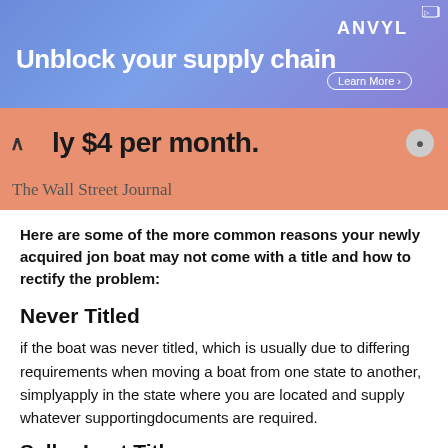[Figure (screenshot): Advertisement banner for ANVYL with text 'Unblock your supply chain' and 'Learn More' button on a blue-purple gradient background]
[Figure (screenshot): Wall Street Journal subscription bar showing 'ly $4 per month.' with orange/salmon background and The Wall Street Journal text below]
Here are some of the more common reasons your newly acquired jon boat may not come with a title and how to rectify the problem:
Never Titled
if the boat was never titled, which is usually due todiffering requirements when moving a boat from one state to another, simplyapply in the state where you are located and supply whatever supportingdocuments are required.
Seller Lost Title